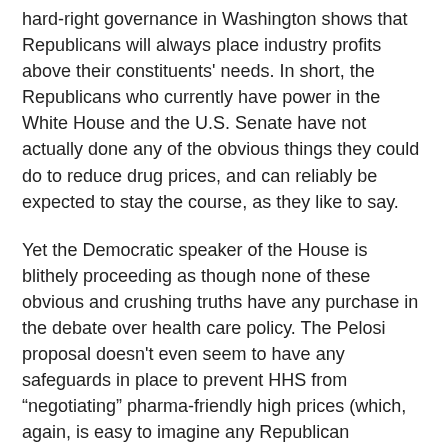hard-right governance in Washington shows that Republicans will always place industry profits above their constituents' needs. In short, the Republicans who currently have power in the White House and the U.S. Senate have not actually done any of the obvious things they could do to reduce drug prices, and can reliably be expected to stay the course, as they like to say.
Yet the Democratic speaker of the House is blithely proceeding as though none of these obvious and crushing truths have any purchase in the debate over health care policy. The Pelosi proposal doesn't even seem to have any safeguards in place to prevent HHS from “negotiating” pharma-friendly high prices (which, again, is easy to imagine any Republican administration, and especially this Republican administration, doing). And in the event of a stalemate over prices, the negotiations only get sent to OMB (which has no experience regulating